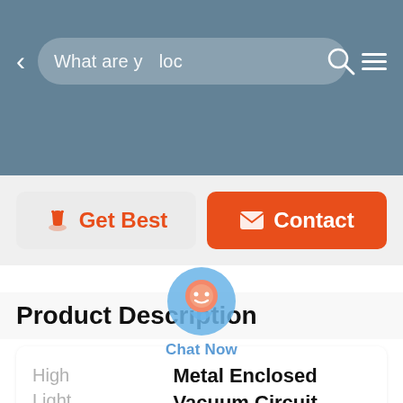[Figure (screenshot): Mobile app header with blurred background, back arrow, search bar reading 'What are you loc', search icon, and hamburger menu]
[Figure (screenshot): Two buttons: 'Get Best' (grey with orange icon) and 'Contact' (orange with white envelope icon), and a chat bubble overlay labeled 'Chat Now']
Product Description
| High Light | Metal Enclosed Vacuum Circuit Breaker |
| --- | --- |